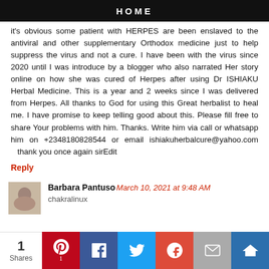HOME
it's obvious some patient with HERPES are been enslaved to the antiviral and other supplementary Orthodox medicine just to help suppress the virus and not a cure. I have been with the virus since 2020 until I was introduce by a blogger who also narrated Her story online on how she was cured of Herpes after using Dr ISHIAKU Herbal Medicine. This is a year and 2 weeks since I was delivered from Herpes. All thanks to God for using this Great herbalist to heal me. I have promise to keep telling good about this. Please fill free to share Your problems with him. Thanks. Write him via call or whatsapp him on +2348180828544 or email ishiakuherbalcure@yahoo.com   thank you once again sirEdit
Reply
Barbara Pantuso March 10, 2021 at 9:48 AM
chakralinux